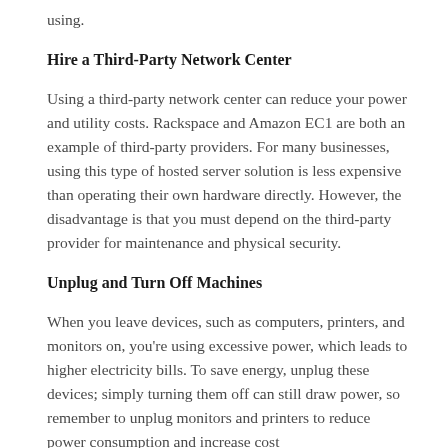using.
Hire a Third-Party Network Center
Using a third-party network center can reduce your power and utility costs. Rackspace and Amazon EC1 are both an example of third-party providers. For many businesses, using this type of hosted server solution is less expensive than operating their own hardware directly. However, the disadvantage is that you must depend on the third-party provider for maintenance and physical security.
Unplug and Turn Off Machines
When you leave devices, such as computers, printers, and monitors on, you're using excessive power, which leads to higher electricity bills. To save energy, unplug these devices; simply turning them off can still draw power, so remember to unplug monitors and printers to reduce power consumption and increase cost